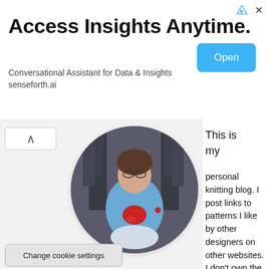[Figure (infographic): Advertisement banner with title 'Access Insights Anytime.', subtitle 'Conversational Assistant for Data & Insights', domain 'senseforth.ai', and a blue 'Open' button. Ad attribution icons (triangle and X) in top right.]
[Figure (photo): Circular profile photo of a woman sitting on a throne-like chair, wearing a blue cardigan, holding red knitting. Background appears to be a dark stone/metal throne.]
This is my
personal knitting blog. I post links to patterns I like by other designers on other websites. I don't own the patterns or distribute them. I'm a late-blooming knitter who learned to knit as an adult. I
Change cookie settings